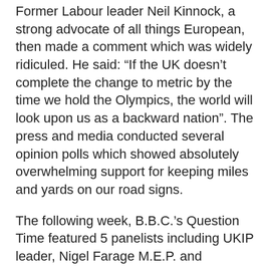Former Labour leader Neil Kinnock, a strong advocate of all things European, then made a comment which was widely ridiculed. He said: “If the UK doesn’t complete the change to metric by the time we hold the Olympics, the world will look upon us as a backward nation”. The press and media conducted several opinion polls which showed absolutely overwhelming support for keeping miles and yards on our road signs.
The following week, B.B.C.’s Question Time featured 5 panelists including UKIP leader, Nigel Farage M.E.P. and Transport Secretary Alistair Darling. One of the questions fielded by the panel was: “Is Neil Kinnock right or wrong to call for Britain’s road signs to be metricated?” All of them opposed Neil Kinnock’s laughable comment.
One of the panellists to speak was Mr Darling. Speaking of the government’s metrication plans, he